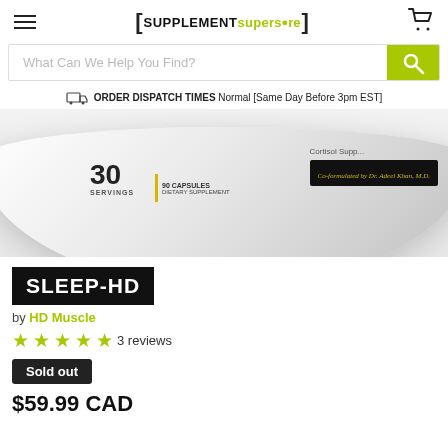SUPPLEMENT superstore
What Can We Help You Find?
ORDER DISPATCH TIMES Normal [Same Day Before 3pm EST]
[Figure (photo): Close-up of a white supplement container lid showing '30 SERVINGS', '90 CAPSULES DIETARY SUPPLEMENT', 'Cortisol Support', and 'Co-formulated by Dr. Adeel Khan, M.D.']
SLEEP-HD
by HD Muscle
3 reviews
Sold out
$59.99 CAD